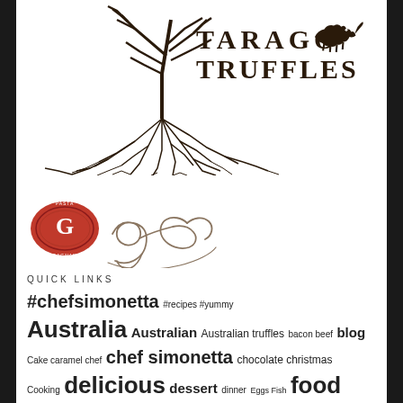[Figure (logo): Tarago Truffles logo with tree roots and a dog silhouette, text reading TARAGO TRUFFLES]
[Figure (logo): Garofalo pasta brand logo - red oval with G and Garofalo cursive signature]
QUICK LINKS
#chefsimonetta #recipes #yummy Australia Australian Australian truffles bacon beef blog Cake caramel chef chef simonetta chocolate christmas Cooking delicious dessert dinner Eggs Fish food foodie...